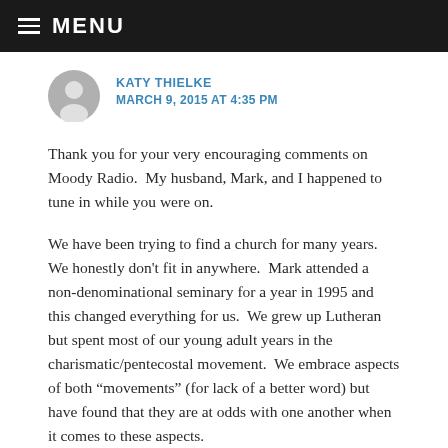MENU
KATY THIELKE
MARCH 9, 2015 AT 4:35 PM
Thank you for your very encouraging comments on Moody Radio.  My husband, Mark, and I happened to tune in while you were on.
We have been trying to find a church for many years. We honestly don’t fit in anywhere.  Mark attended a non-denominational seminary for a year in 1995 and this changed everything for us.  We grew up Lutheran but spent most of our young adult years in the charismatic/pentecostal movement.  We embrace aspects of both “movements” (for lack of a better word) but have found that they are at odds with one another when it comes to these aspects.